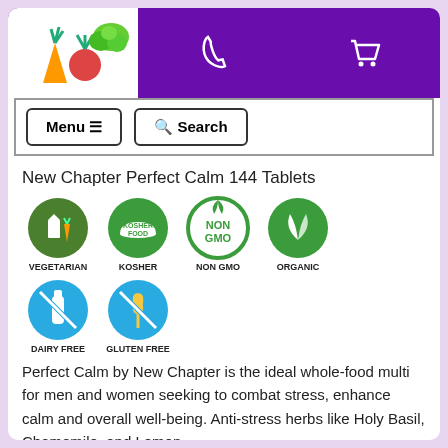[Figure (logo): Vegetables logo for health food website]
Menu ≡   🔍 Search
New Chapter Perfect Calm 144 Tablets
[Figure (infographic): Product badges: VEGETARIAN, KOSHER, NON GMO, ORGANIC, DAIRY FREE, GLUTEN FREE]
Perfect Calm by New Chapter is the ideal whole-food multi for men and women seeking to combat stress, enhance calm and overall well-being. Anti-stress herbs like Holy Basil, Chamomile, and Lemon